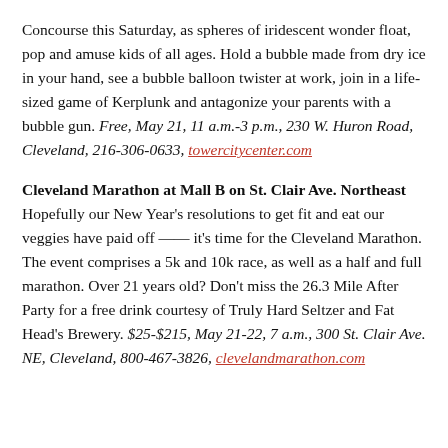Concourse this Saturday, as spheres of iridescent wonder float, pop and amuse kids of all ages. Hold a bubble made from dry ice in your hand, see a bubble balloon twister at work, join in a life-sized game of Kerplunk and antagonize your parents with a bubble gun. Free, May 21, 11 a.m.-3 p.m., 230 W. Huron Road, Cleveland, 216-306-0633, towercitycenter.com
Cleveland Marathon at Mall B on St. Clair Ave. Northeast
Hopefully our New Year's resolutions to get fit and eat our veggies have paid off — it's time for the Cleveland Marathon. The event comprises a 5k and 10k race, as well as a half and full marathon. Over 21 years old? Don't miss the 26.3 Mile After Party for a free drink courtesy of Truly Hard Seltzer and Fat Head's Brewery. $25-$215, May 21-22, 7 a.m., 300 St. Clair Ave. NE, Cleveland, 800-467-3826, clevelandmarathon.com